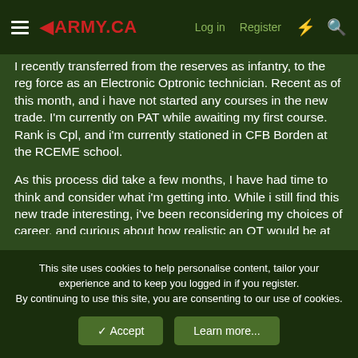◄ARMY.CA  Log in  Register
I recently transferred from the reserves as infantry, to the reg force as an Electronic Optronic technician. Recent as of this month, and i have not started any courses in the new trade. I'm currently on PAT while awaiting my first course. Rank is Cpl, and i'm currently stationed in CFB Borden at the RCEME school.
As this process did take a few months, I have had time to think and consider what i'm getting into. While i still find this new trade interesting, i've been reconsidering my choices of career, and curious about how realistic an OT would be at this point. I was looking at a few other trades, but Airborne electronic sensor operator in particular. I am seriously considering making the switch.
I've read up that OTs are a lot easier to do if done early in my
This site uses cookies to help personalise content, tailor your experience and to keep you logged in if you register.
By continuing to use this site, you are consenting to our use of cookies.